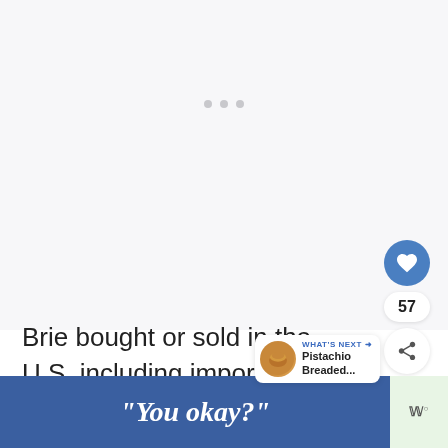[Figure (screenshot): Light gray loading/placeholder area with three small gray dots indicating loading state]
[Figure (screenshot): Blue circular heart/like button with white heart icon, showing count 57 below, and a share button below that]
[Figure (screenshot): WHAT'S NEXT popup bubble with thumbnail image of Pistachio Breaded... recipe]
Brie bought or sold in the U.S, including imported brie, is made with past milk and does not have quite the same
[Figure (screenshot): Blue advertisement banner with italic text "You okay?" and a light green panel on the right with stylized W logo]